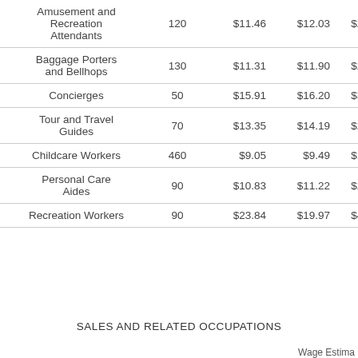| Occupation | Employment | Hourly Wage 1 | Hourly Wage 2 | Annual Wage |
| --- | --- | --- | --- | --- |
| Amusement and Recreation Attendants | 120 | $11.46 | $12.03 | $25,030 |
| Baggage Porters and Bellhops | 130 | $11.31 | $11.90 | $24,760 |
| Concierges | 50 | $15.91 | $16.20 | $33,690 |
| Tour and Travel Guides | 70 | $13.35 | $14.19 | $29,510 |
| Childcare Workers | 460 | $9.05 | $9.49 | $19,740 |
| Personal Care Aides | 90 | $10.83 | $11.22 | $23,330 |
| Recreation Workers | 90 | $23.84 | $19.97 | $41,540 |
SALES AND RELATED OCCUPATIONS
Wage Estima